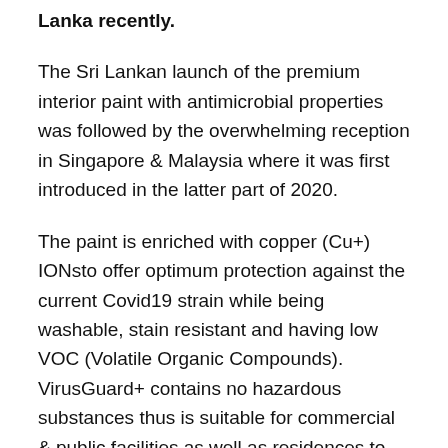Lanka recently.
The Sri Lankan launch of the premium interior paint with antimicrobial properties was followed by the overwhelming reception in Singapore & Malaysia where it was first introduced in the latter part of 2020.
The paint is enriched with copper (Cu+) IONsto offer optimum protection against the current Covid19 strain while being washable, stain resistant and having low VOC (Volatile Organic Compounds). VirusGuard+ contains no hazardous substances thus is suitable for commercial & public facilities as well as residences to eliminate surface contamination.
Nippon Paint VirusGuard+ antibacterial paint has been clinically tested by third party laboratories and proven to be effective against human coronaviruses and Feline Calicivirus